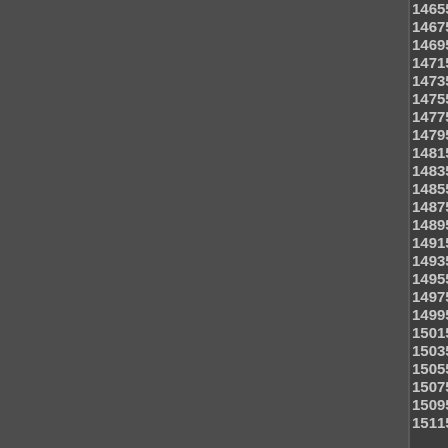14655 14656 14657 14658 14659 14660 14661 14662 14663 14664 14665 14666 14667 14668 14669 14670 14671 14672 14673 14674 14675 14676 14677 14678 14679 14680 14681 14682 14683 14684 14685 14686 14687 14688 14689 14690 14691 14692 14693 14694 14695 14696 14697 14698 14699 14700 14701 14702 14703 14704 14705 14706 14707 14708 14709 14710 14711 14712 14713 14714 14715 14716 14717 14718 14719 14720 14721 14722 14723 14724 14725 14726 14727 14728 14729 14730 14731 14732 14733 14734 14735 14736 14737 14738 14739 14740 14741 14742 14743 14744 14745 14746 14747 14748 14749 14750 14751 14752 14753 14754 14755 14756 14757 14758 14759 14760 14761 14762 14763 14764 14765 14766 14767 14768 14769 14770 14771 14772 14773 14774 14775 14776 14777 14778 14779 14780 14781 14782 14783 14784 14785 14786 14787 14788 14789 14790 14791 14792 14793 14794 14795 14796 14797 14798 14799 14800 14801 14802 14803 14804 14805 14806 14807 14808 14809 14810 14811 14812 14813 14814 14815 14816 14817 14818 14819 14820 14821 14822 14823 14824 14825 14826 14827 14828 14829 14830 14831 14832 14833 14834 14835 14836 14837 14838 14839 14840 14841 14842 14843 14844 14845 14846 14847 14848 14849 14850 14851 14852 14853 14854 14855 14856 14857 14858 14859 14860 14861 14862 14863 14864 14865 14866 14867 14868 14869 14870 14871 14872 14873 14874 14875 14876 14877 14878 14879 14880 14881 14882 14883 14884 14885 14886 14887 14888 14889 14890 14891 14892 14893 14894 14895 14896 14897 14898 14899 14900 14901 14902 14903 14904 14905 14906 14907 14908 14909 14910 14911 14912 14913 14914 14915 14916 14917 14918 14919 14920 14921 14922 14923 14924 14925 14926 14927 14928 14929 14930 14931 14932 14933 14934 14935 14936 14937 14938 14939 14940 14941 14942 14943 14944 14945 14946 14947 14948 14949 14950 14951 14952 14953 14954 14955 14956 14957 14958 14959 14960 14961 14962 14963 14964 14965 14966 14967 14968 14969 14970 14971 14972 14973 14974 14975 14976 14977 14978 14979 14980 14981 14982 14983 14984 14985 14986 14987 14988 14989 14990 14991 14992 14993 14994 14995 14996 14997 14998 14999 15000 15001 15002 15003 15004 15005 15006 15007 15008 15009 15010 15011 15012 15013 15014 15015 15016 15017 15018 15019 15020 15021 15022 15023 15024 15025 15026 15027 15028 15029 15030 15031 15032 15033 15034 15035 15036 15037 15038 15039 15040 15041 15042 15043 15044 15045 15046 15047 15048 15049 15050 15051 15052 15053 15054 15055 15056 15057 15058 15059 15060 15061 15062 15063 15064 15065 15066 15067 15068 15069 15070 15071 15072 15073 15074 15075 15076 15077 15078 15079 15080 15081 15082 15083 15084 15085 15086 15087 15088 15089 15090 15091 15092 15093 15094 15095 15096 15097 15098 15099 15100 15101 15102 15103 15104 15105 15106 15107 15108 15109 15110 15111 15112 15113 15114 15115 15116 15117 15118 15119 15120 15121